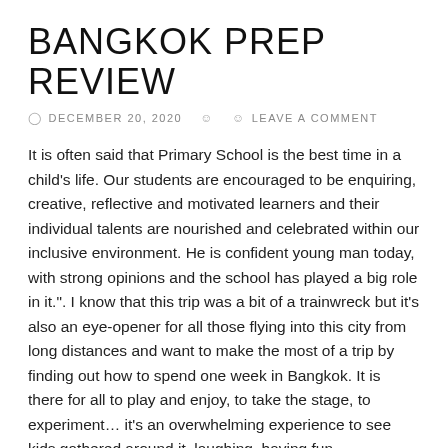BANGKOK PREP REVIEW
DECEMBER 20, 2020   LEAVE A COMMENT
It is often said that Primary School is the best time in a child's life. Our students are encouraged to be enquiring, creative, reflective and motivated learners and their individual talents are nourished and celebrated within our inclusive environment. He is confident young man today, with strong opinions and the school has played a big role in it.". I know that this trip was a bit of a trainwreck but it's also an eye-opener for all those flying into this city from long distances and want to make the most of a trip by finding out how to spend one week in Bangkok. It is there for all to play and enjoy, to take the stage, to experiment… it's an overwhelming experience to see kids gathered around it, laughing, having fun, discovering the musician in themselves. Bangkok Prep at a Glance; Accreditations and Affiliations; Vision, Mission and Life